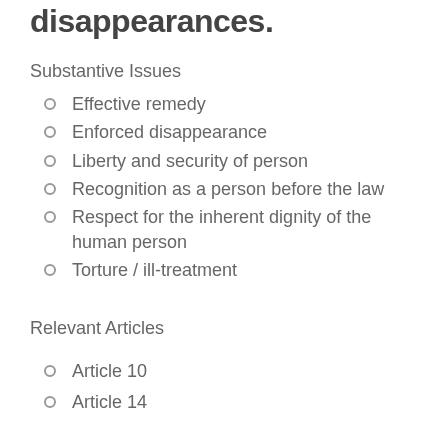disappearances.
Substantive Issues
Effective remedy
Enforced disappearance
Liberty and security of person
Recognition as a person before the law
Respect for the inherent dignity of the human person
Torture / ill-treatment
Relevant Articles
Article 10
Article 14